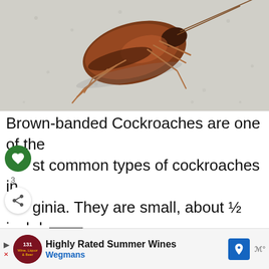[Figure (photo): Close-up photograph of a brown-banded cockroach on a light textured surface, showing brown body with darker markings and long antennae.]
Brown-banded Cockroaches are one of the most common types of cockroaches in Virginia. They are small, about ½ inch long, and have a light brown body with two dark bands across their back.
Brown-banded Cockroaches are not able to fly...
[Figure (infographic): Advertisement banner: Highly Rated Summer Wines - Wegmans, with logo, navigation arrow icon, and audio/play controls.]